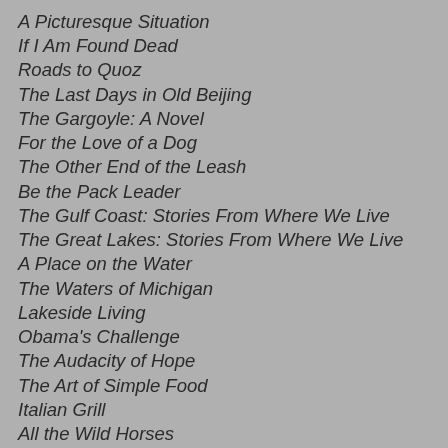A Picturesque Situation
If I Am Found Dead
Roads to Quoz
The Last Days in Old Beijing
The Gargoyle: A Novel
For the Love of a Dog
The Other End of the Leash
Be the Pack Leader
The Gulf Coast: Stories From Where We Live
The Great Lakes: Stories From Where We Live
A Place on the Water
The Waters of Michigan
Lakeside Living
Obama's Challenge
The Audacity of Hope
The Art of Simple Food
Italian Grill
All the Wild Horses
The Wild Trees
Garden Insects
The Story of Edgar Sawtelle